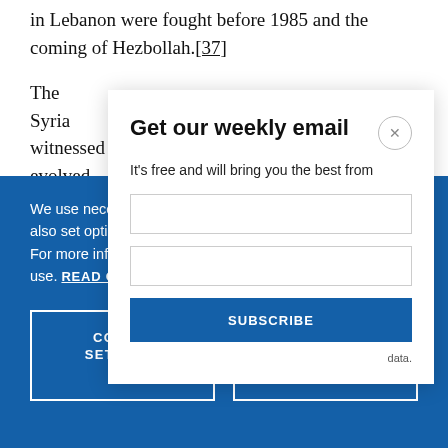in Lebanon were fought before 1985 and the coming of Hezbollah.[37]
The Syria... witnessed... evolved a...
[Figure (screenshot): Email signup modal overlay with title 'Get our weekly email', subtitle 'It’s free and will bring you the best from', input fields, and a blue subscribe button. Also includes a data note about 'data.']
We use necessary cookies that allow our site to work. We also set optional cookies that help us improve our website. For more information about the types of cookies we use. READ OUR COOKIES POLICY HERE
COOKIE SETTINGS
ALLOW ALL COOKIES